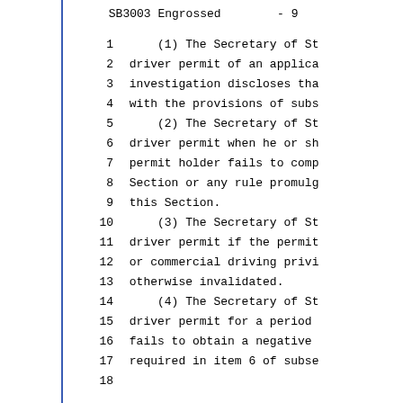SB3003 Engrossed     - 9
1    (1) The Secretary of St
2    driver permit of an applica
3    investigation discloses tha
4    with the provisions of subs
5    (2) The Secretary of St
6    driver permit when he or sh
7    permit holder fails to comp
8    Section or any rule promulg
9    this Section.
10   (3) The Secretary of St
11   driver permit if the permit
12   or commercial driving privi
13   otherwise invalidated.
14   (4) The Secretary of St
15   driver permit for a period
16   fails to obtain a negative
17   required in item 6 of subse
18   ...